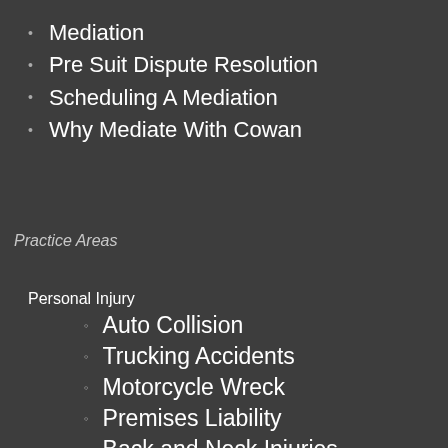Mediation
Pre Suit Dispute Resolution
Scheduling A Mediation
Why Mediate With Cowan
Practice Areas
Personal Injury
Auto Collision
Trucking Accidents
Motorcycle Wreck
Premises Liability
Back and Neck Injuries
Hand And Wrist Injuries
Minor Property Damage Serious Injury